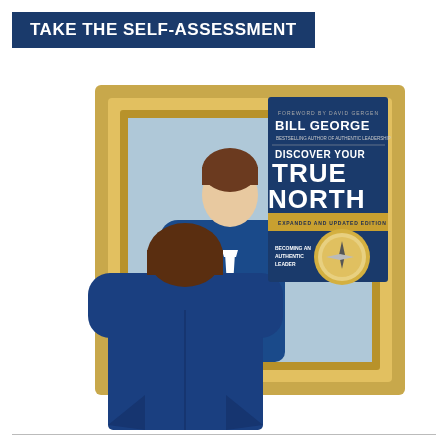TAKE THE SELF-ASSESSMENT
[Figure (illustration): Illustration of a person in a blue suit viewed from behind, looking at their reflection in a gold-framed mirror. The reflection shows a man in a blue suit with a white tie and brown hair. Overlaid on the top-right of the illustration is a book cover for 'Discover Your True North' by Bill George, Expanded and Updated Edition, with a compass graphic and the subtitle 'Becoming an Authentic Leader'. The book cover has a dark navy blue background with gold and white text.]